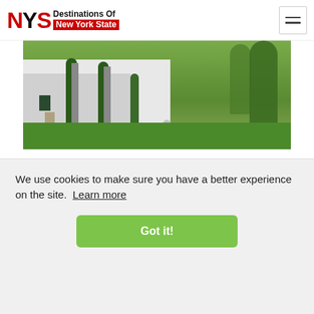NYS Destinations Of New York State
[Figure (photo): Exterior photo of a white house with green vines on columns, potted plants, and a green lawn with trees in the background]
This school program allows you to learn about the world of cameras and
We use cookies to make sure you have a better experience on the site. Learn more
Got it!
digital camera.